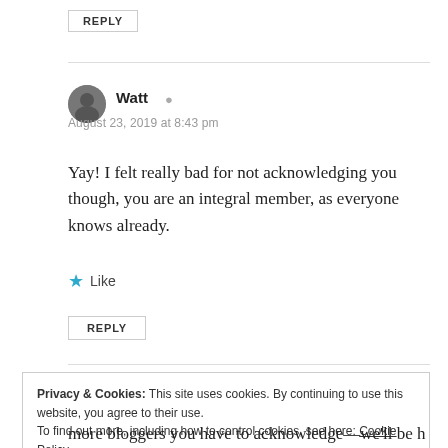REPLY
Watt
August 23, 2019 at 8:43 pm
Yay! I felt really bad for not acknowledging you though, you are an integral member, as everyone knows already.
Like
REPLY
Privacy & Cookies: This site uses cookies. By continuing to use this website, you agree to their use.
To find out more, including how to control cookies, see here: Cookie Policy
Close and accept
more bloggers you have to acknowledge—we'll be here